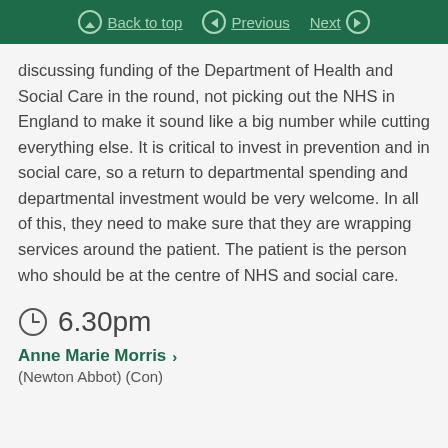Back to top | Previous | Next
discussing funding of the Department of Health and Social Care in the round, not picking out the NHS in England to make it sound like a big number while cutting everything else. It is critical to invest in prevention and in social care, so a return to departmental spending and departmental investment would be very welcome. In all of this, they need to make sure that they are wrapping services around the patient. The patient is the person who should be at the centre of NHS and social care.
6.30pm
Anne Marie Morris
(Newton Abbot) (Con)